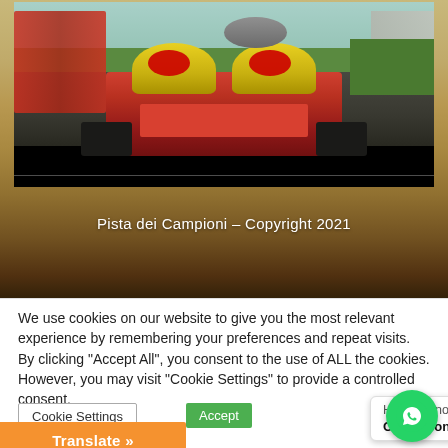[Figure (photo): Go-kart racing photo showing children in helmets riding yellow and red go-karts on a track, with tires and grass in background. Below the photo is a sandy/golden blurred background area.]
Pista dei Campioni – Copyright 2021
We use cookies on our website to give you the most relevant experience by remembering your preferences and repeat visits. By clicking "Accept All", you consent to the use of ALL the cookies. However, you may visit "Cookie Settings" to provide a controlled consent.
Cookie Settings
Accept
Hai bisogno di aiuto?
Chatta con noi
Translate »